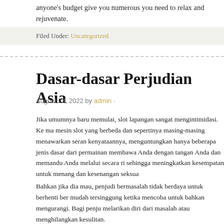anyone's budget give you numerous you need to relax and rejuvenate.
Filed Under: Uncategorized
Dasar-dasar Perjudian Asia
August 23, 2022 by admin ·
Jika umumnya baru memulai, slot lapangan sangat mengintimidasi. Ke ma mesin slot yang berbeda dan sepertinya masing-masing menawarkan seran kenyataannya, menguntungkan hanya beberapa jenis dasar dari permainan membawa Anda dengan tangan Anda dan memandu Anda melalui secara ri sehingga meningkatkan kesempatan untuk menang dan kesenangan seksua
Bahkan jika dia mau, penjudi bermasalah tidak berdaya untuk berhenti ber mudah tersinggung ketika mencoba untuk bahkan mengurangi. Bagi penju melarikan diri dari masalah atau menghilangkan kesulitan.
Anda ingin mengingat bahwa beberapa orang tidak tahu kapan cukup akan kalah, mereka mencoba bertaruh serta lebih banyak keuntungan untuk me pilih untuk hilang. Pada akhirnya, kemungkinan akan kehilangan banyak